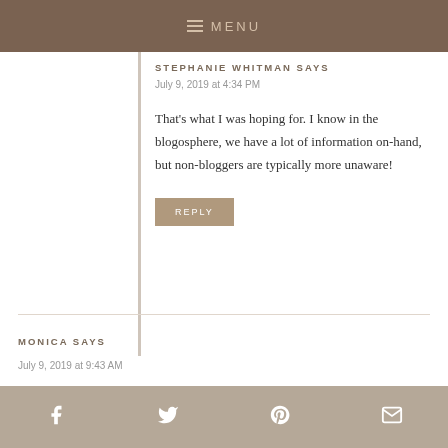≡ MENU
STEPHANIE WHITMAN SAYS
July 9, 2019 at 4:34 PM
That's what I was hoping for. I know in the blogosphere, we have a lot of information on-hand, but non-bloggers are typically more unaware!
REPLY
MONICA SAYS
July 9, 2019 at 9:43 AM
f  Twitter  Pinterest  Email